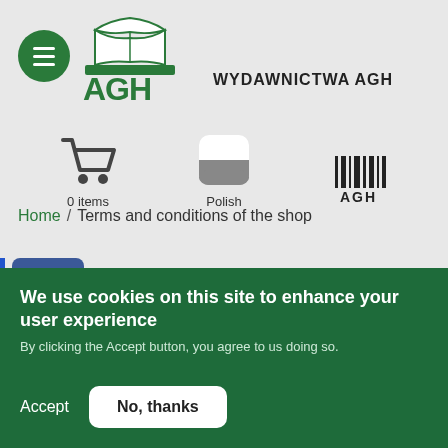[Figure (logo): AGH Wydawnictwa AGH logo with open book icon and green AGH letters]
[Figure (logo): Shopping cart icon with '0 items' label]
[Figure (logo): Polish flag icon with 'Polish' label]
[Figure (logo): AGH barcode-style logo with 'AGH' text]
Home / Terms and conditions of the shop
[Figure (logo): Facebook 'f' icon in blue rounded square]
ims and conditions of the shop
We use cookies on this site to enhance your user experience
By clicking the Accept button, you agree to us doing so.
Accept
No, thanks